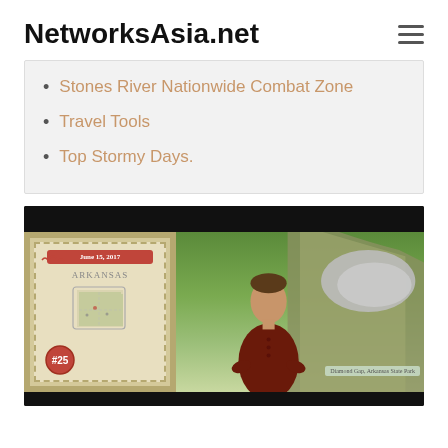NetworksAsia.net
Stones River Nationwide Combat Zone
Travel Tools
Top Stormy Days.
[Figure (screenshot): Video thumbnail showing a man in a dark red shirt standing in front of a composite background with a vintage Arkansas map card on the left and a rocky mountain landscape with green trees on the right. The map card features a red banner, state outline, and a red circular badge with '25'. A caption box reads 'Diamond Gap, Arkansas State Park'.]